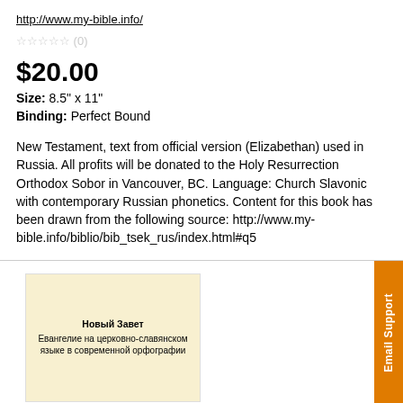http://www.my-bible.info/
☆☆☆☆☆ (0)
$20.00
Size: 8.5" x 11"
Binding: Perfect Bound
New Testament, text from official version (Elizabethan) used in Russia. All profits will be donated to the Holy Resurrection Orthodox Sobor in Vancouver, BC. Language: Church Slavonic with contemporary Russian phonetics. Content for this book has been drawn from the following source: http://www.my-bible.info/biblio/bib_tsek_rus/index.html#q5
[Figure (illustration): Book cover with cream/yellow background showing Russian text: Новый Завет, Евангелие на церковно-славянском языке в современной орфографии]